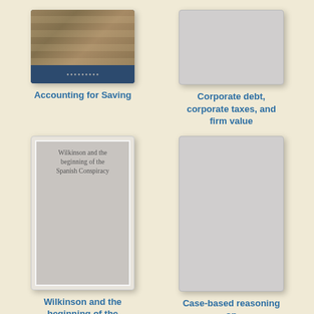[Figure (illustration): Book cover for 'Accounting for Saving' — colorful banknotes collage on top half, dark blue bottom half]
Accounting for Saving
[Figure (illustration): Book cover placeholder — light gray rectangle with no visible content]
Corporate debt, corporate taxes, and firm value
[Figure (illustration): Book cover for 'Wilkinson and the beginning of the Spanish Conspiracy' — white-bordered gray cover with title text in center]
Wilkinson and the beginning of the Spanish Conspiracy
[Figure (illustration): Book cover placeholder — light gray/cream rectangle with no visible content]
Case-based reasoning on images and signals
[Figure (illustration): Book cover with purple/magenta gradient background, author name 'S. K. Upadhyar' in center]
[Figure (illustration): Book cover placeholder with text 'Fundamentals of' partially visible at bottom]
Fundamentals of